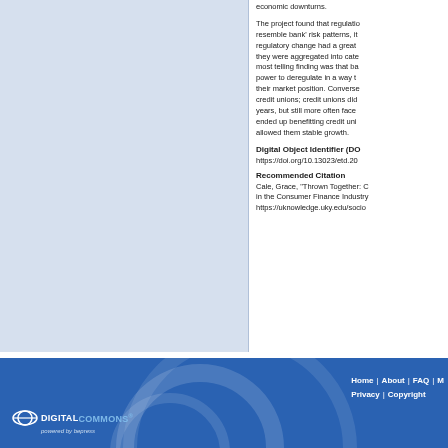[Figure (other): Light blue decorative left panel]
economic downturns.
The project found that regulation to resemble bank' risk patterns, it regulatory change had a great they were aggregated into cate most telling finding was that ba power to deregulate in a way t their market position. Converse credit unions; credit unions did years, but still more often face ended up benefitting credit uni allowed them stable growth.
Digital Object Identifier (DO
https://doi.org/10.13023/etd.20
Recommended Citation
Cale, Grace, "Thrown Together: C in the Consumer Finance Industry, https://uknowledge.uky.edu/socio
Home | About | FAQ | M Privacy | Copyright — Digital Commons powered by bepress